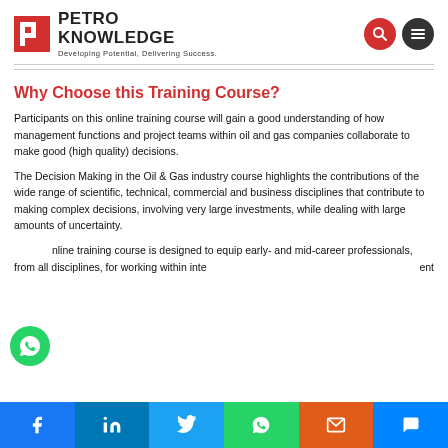PETRO KNOWLEDGE — Developing Potential, Delivering Success.
Why Choose this Training Course?
Participants on this online training course will gain a good understanding of how management functions and project teams within oil and gas companies collaborate to make good (high quality) decisions.
The Decision Making in the Oil & Gas industry course highlights the contributions of the wide range of scientific, technical, commercial and business disciplines that contribute to making complex decisions, involving very large investments, while dealing with large amounts of uncertainty.
This online training course is designed to equip early- and mid-career professionals, from all disciplines, for working within inte... ment